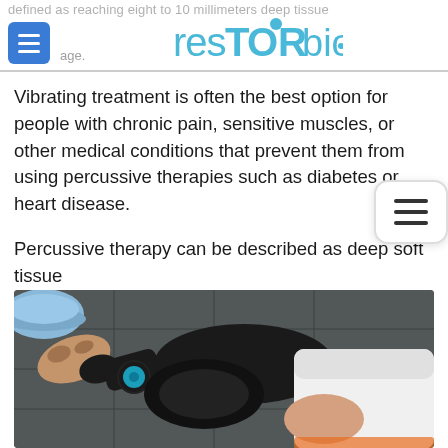defined as reaching eight to 10 millimeters deep tissue massage. resTORbio
Vibrating treatment is often the best option for people with chronic pain, sensitive muscles, or other medical conditions that prevent them from using percussive therapies such as diabetes or heart disease.
Percussive therapy can be described as deep soft tissue massage, while vibration therapy can be described as Swedish massage.
[Figure (photo): A person using a percussive massage device on another person's leg/knee area, viewed from above. The person applying the device has a tattooed arm and is wearing dark workout clothing. The recipient is wearing a white shirt and shorts.]